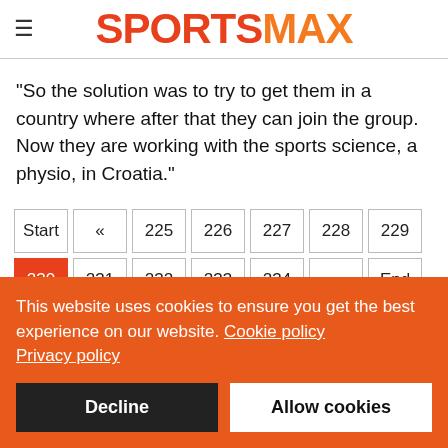SPORTSMAX
"So the solution was to try to get them in a country where after that they can join the group. Now they are working with the sports science, a physio, in Croatia."
Pagination: Start « 225 226 227 228 229 | 230 (active) 231 232 233 234 » End
This website uses cookies to ensure you get the best experience on our website. Cookie policy Privacy policy
Decline | Allow cookies